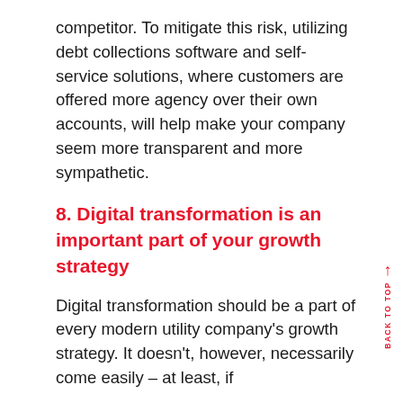competitor. To mitigate this risk, utilizing debt collections software and self-service solutions, where customers are offered more agency over their own accounts, will help make your company seem more transparent and more sympathetic.
8. Digital transformation is an important part of your growth strategy
Digital transformation should be a part of every modern utility company's growth strategy. It doesn't, however, necessarily come easily – at least, if